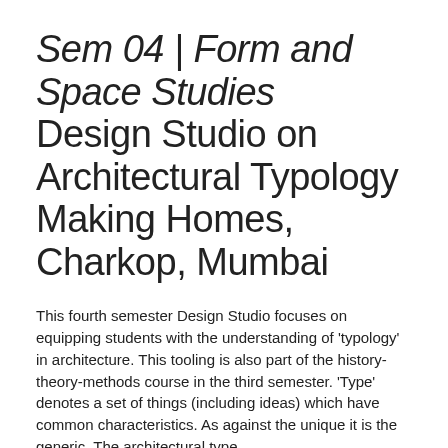Sem 04 | Form and Space Studies Design Studio on Architectural Typology Making Homes, Charkop, Mumbai
This fourth semester Design Studio focuses on equipping students with the understanding of 'typology' in architecture. This tooling is also part of the history-theory-methods course in the third semester. 'Type' denotes a set of things (including ideas) which have common characteristics. As against the unique it is the generic. The architectural type